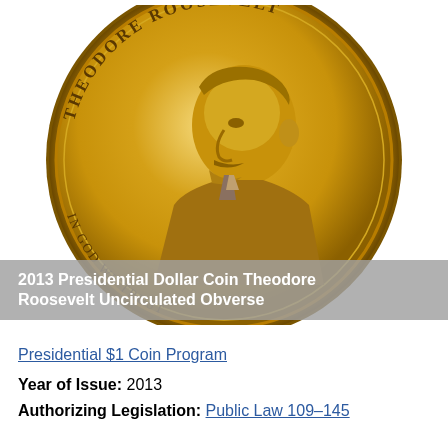[Figure (photo): 2013 Presidential Dollar Coin Theodore Roosevelt Uncirculated Obverse — gold-colored dollar coin showing Theodore Roosevelt profile facing left, with inscriptions THEODORE ROOSEVELT, IN GOD WE TRUST, 26th PRESIDENT 1901-1909 around the rim]
2013 Presidential Dollar Coin Theodore Roosevelt Uncirculated Obverse
Presidential $1 Coin Program
Year of Issue: 2013
Authorizing Legislation: Public Law 109-145